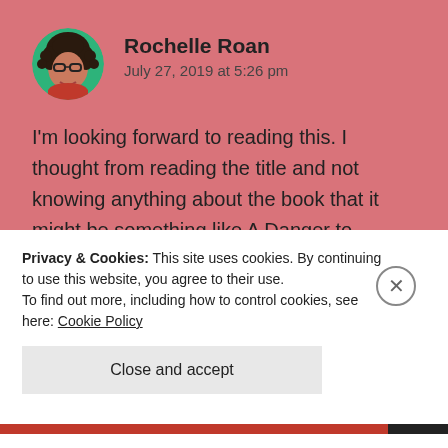[Figure (illustration): Circular avatar of a woman with dark curly hair and glasses, on a green background]
Rochelle Roan
July 27, 2019 at 5:26 pm
I'm looking forward to reading this. I thought from reading the title and not knowing anything about the book that it might be something like A Danger to Herself and Others.
★ Liked by 1 person
↩ Reply
Privacy & Cookies: This site uses cookies. By continuing to use this website, you agree to their use.
To find out more, including how to control cookies, see here: Cookie Policy
Close and accept